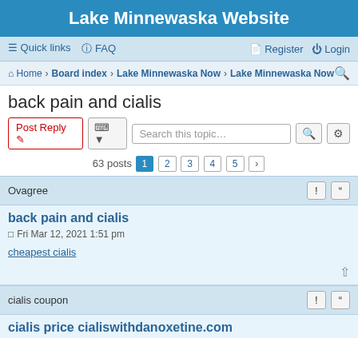Lake Minnewaska Website
Quick links  FAQ  Register  Login
Home · Board index · Lake Minnewaska Now · Lake Minnewaska Now
back pain and cialis
Post Reply  [tools]  Search this topic…  63 posts  1 2 3 4 5 >
Ovagree
back pain and cialis
Fri Mar 12, 2021 1:51 pm
cheapest cialis
cialis coupon
cialis price cialiswithdanoxetine.com